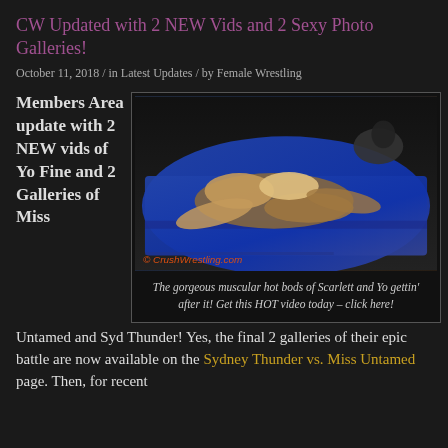CW Updated with 2 NEW Vids and 2 Sexy Photo Galleries!
October 11, 2018  /  in Latest Updates  /  by Female Wrestling
Members Area update with 2 NEW vids of Yo Fine and 2 Galleries of Miss Untamed and Syd Thunder!  Yes, the final 2 galleries of their epic battle are now available on the Sydney Thunder vs. Miss Untamed page.  Then, for recent
[Figure (photo): Two female wrestlers grappling on a blue mat, one applying a hold on the other. Watermark reads CrushWrestling.com]
The gorgeous muscular hot bods of Scarlett and Yo gettin' after it! Get this HOT video today – click here!